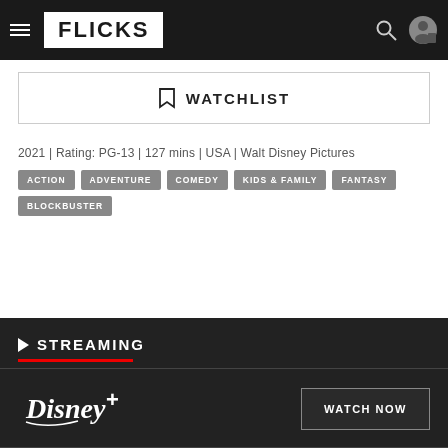FLICKS
WATCHLIST
2021 | Rating: PG-13 | 127 mins | USA | Walt Disney Pictures
ACTION
ADVENTURE
COMEDY
KIDS & FAMILY
FANTASY
BLOCKBUSTER
STREAMING
Disney+
WATCH NOW